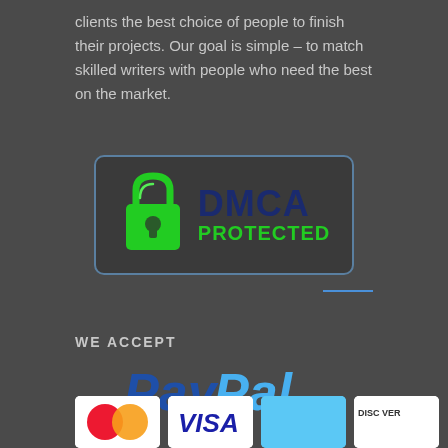clients the best choice of people to finish their projects. Our goal is simple – to match skilled writers with people who need the best on the market.
[Figure (logo): DMCA Protected badge with green padlock icon and dark blue DMCA text with green PROTECTED text below, inside a rounded rectangle border]
WE ACCEPT
[Figure (logo): PayPal logo in blue and light blue italic bold text]
[Figure (illustration): Row of payment card logos: Mastercard, Visa, American Express, Discover - partially visible at bottom]